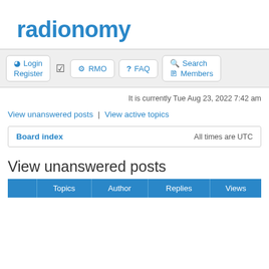radionomy
Login | Register | RMO | FAQ | Search | Members
It is currently Tue Aug 23, 2022 7:42 am
View unanswered posts | View active topics
| Board index | All times are UTC |
| --- | --- |
View unanswered posts
|  | Topics | Author | Replies | Views |
| --- | --- | --- | --- | --- |